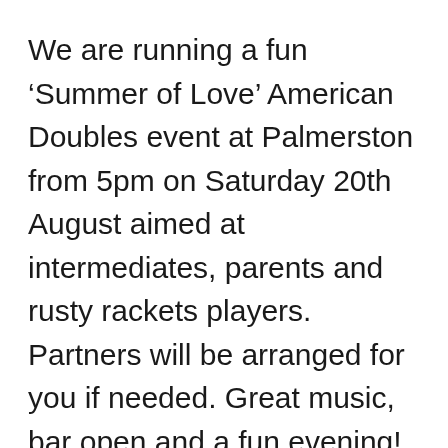We are running a fun ‘Summer of Love’ American Doubles event at Palmerston from 5pm on Saturday 20th August aimed at intermediates, parents and rusty rackets players. Partners will be arranged for you if needed. Great music, bar open and a fun evening! There’s a ‘1967 summer of love’ theme and will be a prize for the most innovative attire! We will have the mini nets set out so any little ones can accompany their parents and